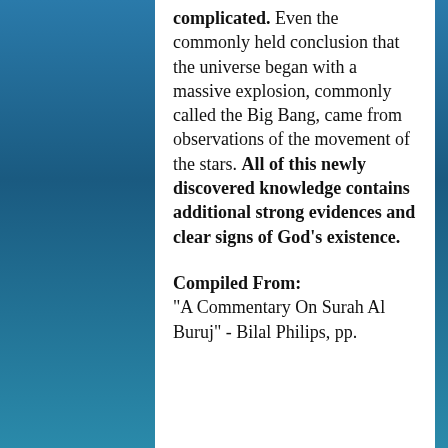complicated. Even the commonly held conclusion that the universe began with a massive explosion, commonly called the Big Bang, came from observations of the movement of the stars. All of this newly discovered knowledge contains additional strong evidences and clear signs of God's existence.
Compiled From: "A Commentary On Surah Al Buruj" - Bilal Philips, pp.